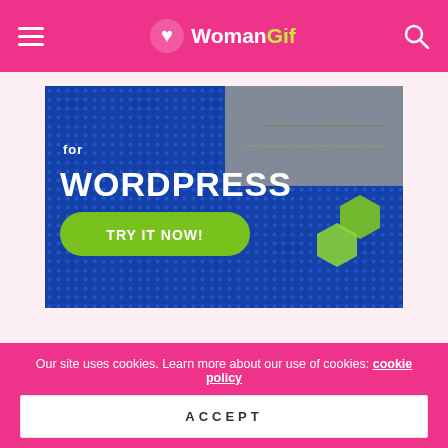WomanGif
[Figure (screenshot): Advertisement banner for WordPress with blue dotted background, 'for WORDPRESS' text in white, a green 'TRY IT NOW!' button, and decorative green hexagons]
SEARCH
SEARCH (search input placeholder)
Our site uses cookies. Learn more about our use of cookies: cookie policy
ACCEPT